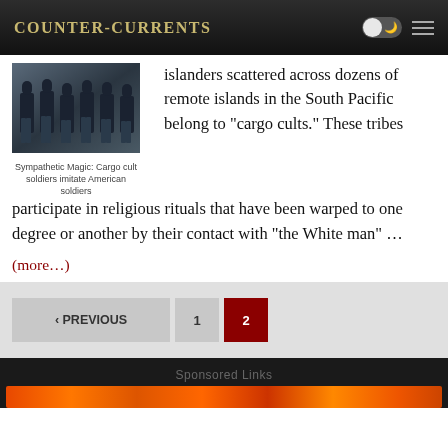Counter-Currents
[Figure (photo): Cargo cult soldiers imitating American soldiers, people wearing jeans standing in a row]
Sympathetic Magic: Cargo cult soldiers imitate American soldiers
islanders scattered across dozens of remote islands in the South Pacific belong to “cargo cults.” These tribes participate in religious rituals that have been warped to one degree or another by their contact with “the White man” …
(more…)
‹ PREVIOUS  1  2
Sponsored Links
[Figure (photo): Sponsored links banner with social media icons]